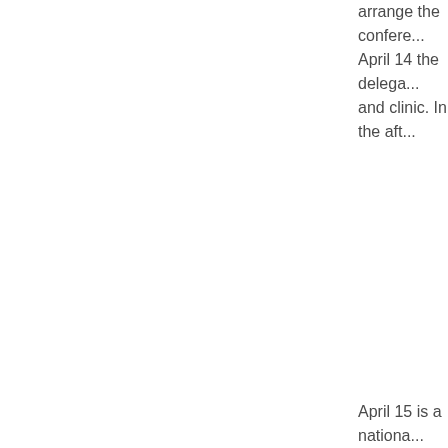arrange the confere... April 14 the delega... and clinic. In the aft...
April 15 is a nationa... Korea. In the morn...